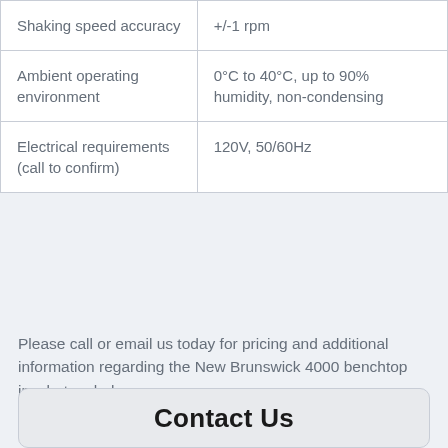| Parameter | Value |
| --- | --- |
| Shaking speed accuracy | +/-1 rpm |
| Ambient operating environment | 0°C to 40°C, up to 90% humidity, non-condensing |
| Electrical requirements (call to confirm) | 120V, 50/60Hz |
Please call or email us today for pricing and additional information regarding the New Brunswick 4000 benchtop incubator shaker.
View Manual
Contact Us